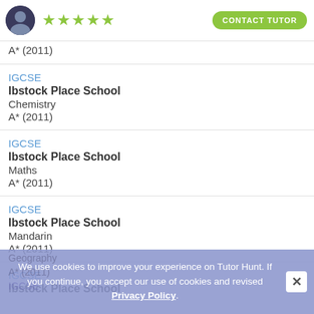[Figure (other): Tutor profile header with avatar photo, 5 green stars rating, and a green Contact Tutor button]
A* (2011)
IGCSE
Ibstock Place School
Chemistry
A* (2011)
IGCSE
Ibstock Place School
Maths
A* (2011)
IGCSE
Ibstock Place School
Mandarin
A* (2011)
IGCSE
Ibstock Place School
Geography
A* (2011)
IGCSE
We use cookies to improve your experience on Tutor Hunt. If you continue, you accept our use of cookies and revised Privacy Policy.